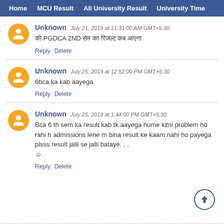Home   MCU Result   All University Result   University Time
Unknown   July 21, 2019 at 11:31:00 AM GMT+5:30
की PGDCA 2ND सेम का रिजल्ट कब आएगा
Reply  Delete
Unknown   July 25, 2019 at 12:52:00 PM GMT+5:30
6bca ka kab aayega
Reply  Delete
Unknown   July 25, 2019 at 1:44:00 PM GMT+5:30
Bca 6 th sem ka result kab tk aayega hume kitni problem ho rahi h admissions lene m bina result ke kaam nahi ho payega plsss result jalli se jalli bataye. . . ☺
Reply  Delete